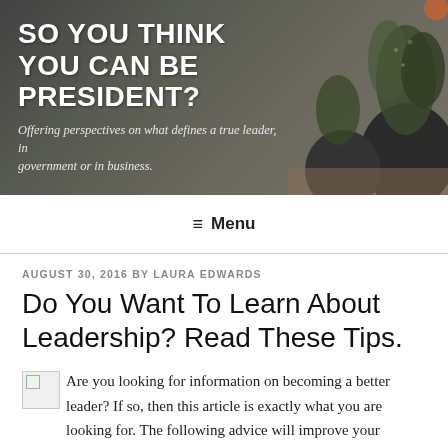[Figure (photo): Blog header banner with dark background showing decorative plants/succulents in black round pots on a wooden table]
SO YOU THINK YOU CAN BE PRESIDENT?
Offering perspectives on what defines a true leader, in government or in business.
≡ Menu
AUGUST 30, 2016 BY LAURA EDWARDS
Do You Want To Learn About Leadership? Read These Tips.
Are you looking for information on becoming a better leader? If so, then this article is exactly what you are looking for. The following advice will improve your leadership skills. Keep reading and learn how to be an effective leader.